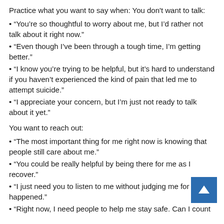Practice what you want to say when: You don't want to talk:
• “You’re so thoughtful to worry about me, but I’d rather not talk about it right now.”
• “Even though I’ve been through a tough time, I’m getting better.”
• “I know you’re trying to be helpful, but it’s hard to understand if you haven’t experienced the kind of pain that led me to attempt suicide.”
• “I appreciate your concern, but I’m just not ready to talk about it yet.”
You want to reach out:
• “The most important thing for me right now is knowing that people still care about me.”
• “You could be really helpful by being there for me as I recover.”
• “I just need you to listen to me without judging me for what happened.”
• “Right now, I need people to help me stay safe. Can I count…”